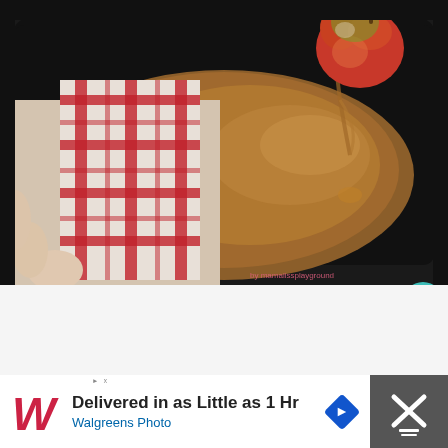[Figure (photo): A hand holding a red and green apple being dipped into a slow cooker filled with glossy caramel sauce. A red and white plaid kitchen towel is visible on the left. Watermark reads 'by mamalissplayground'.]
6
WHAT'S NEXT → Reindeer Theme Clas...
[Figure (photo): Thumbnail image for Reindeer Theme Classroom activity.]
Delivered in as Little as 1 Hr
Walgreens Photo